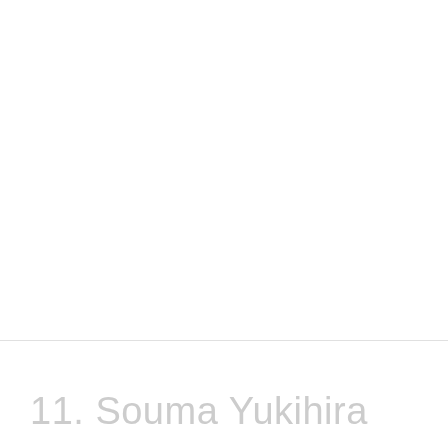[Figure (other): Blank white upper area of the page]
11. Souma Yukihira